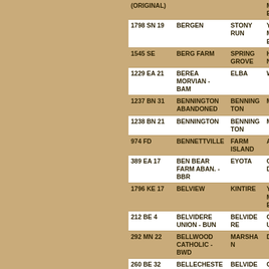| (ORIGINAL) |  |  | MEDICINE |
| --- | --- | --- | --- |
| 1798 SN 19 | BERGEN | STONY RUN | YELLOW MEDICINE |
| 1545 SE | BERG FARM | SPRING GROVE | HOUSTON |
| 1229 EA 21 | BEREA MORVIAN - BAM | ELBA | WINONA |
| 1237 BN 31 | BENNINGTON ABANDONED | BENNINGTON | MOWER |
| 1238 BN 21 | BENNINGTON | BENNINGTON | MOWER |
| 974 FD | BENNETTVILLE | FARM ISLAND | AITKIN |
| 389 EA 17 | BEN BEAR FARM ABAN. - BBR | EYOTA | OLMSTED |
| 1796 KE 17 | BELVIEW | KINTIRE | YELLOW MEDICINE |
| 212 BE 4 | BELVIDERE UNION - BUN | BELVIDERE | GOODHUE |
| 292 MN 22 | BELLWOOD CATHOLIC - BWD | MARSHAN | DAKOTA |
| 260 BE 32 | BELLECHESTER ST MARY - BSM | BELVIDERE | GOODHUE |
| 633 GF 9 | BECKVILLE | GREENLEAF | MEEKER |
| 1228 WR 21 | BEAVER - BEA | WHITEWATER | WINONA |
| 553 BE 20 | BEARVILLE | BEARVILLE | ITASCA |
| 978 CR 27 | BEAR VALLEY | CHESTER | WABASHA |
| 659 FD 7 | BEAR CREEK LUTH. | FRANKFORD | MOWER |
| 1227 PL 30 | BEACH EMMONS MANFULL - BHE | PLEASANT HILL | WINONA |
| 931 BE 4 | BAY LAKE | BAY LAKE | CROW WING |
| 930 BR 12 | BAXTER | BAXTER | CROW WING |
| 1795 BR 14 | BAXTER | BAXTER | YELLOW MEDICINE |